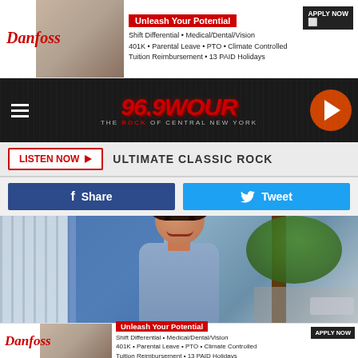[Figure (other): Danfoss advertisement banner at top: 'Unleash Your Potential' with benefits listed: Shift Differential, Medical/Dental/Vision, 401K, Parental Leave, PTO, Climate Controlled, Tuition Reimbursement, 13 PAID Holidays. Apply Now button.]
[Figure (logo): 96.9 WOUR The Rock of Central New York radio station logo on dark textured background with hamburger menu icon on left and play button on right.]
LISTEN NOW ▶  ULTIMATE CLASSIC ROCK
f  Share
🐦  Tweet
[Figure (photo): A smiling young woman with dark hair in an updo bun, wearing a light blue/periwinkle top, standing outdoors with trees and a building with vertical slats in the background.]
[Figure (other): Danfoss advertisement banner at bottom: 'Unleash Your Potential' with benefits listed: Shift Differential, Medical/Dental/Vision, 401K, Parental Leave, PTO, Climate Controlled, Tuition Reimbursement, 13 PAID Holidays. Apply Now button.]